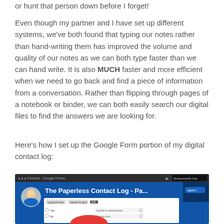or hunt that person down before I forget!
Even though my partner and I have set up different systems, we've both found that typing our notes rather than hand-writing them has improved the volume and quality of our notes as we can both type faster than we can hand write. It is also MUCH faster and more efficient when we need to go back and find a piece of information from a conversation. Rather than flipping through pages of a notebook or binder, we can both easily search our digital files to find the answers we are looking for.
Here's how I set up the Google Form portion of my digital contact log:
[Figure (screenshot): Screenshot of a video titled 'The Paperless Contact Log - Pa...' showing a Google Form interface with a Screencastify Lite badge in the top right corner. A woman's avatar is visible in the top left. The form shows radio button options and dropdown menus, with a red button partially visible at the bottom.]